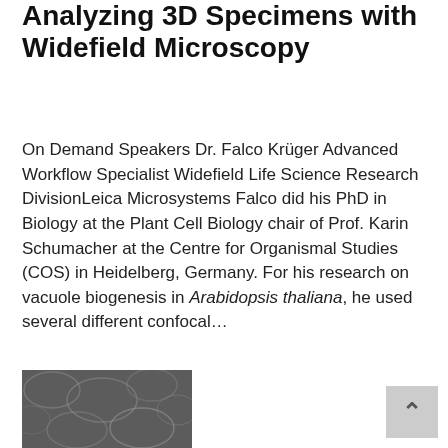Analyzing 3D Specimens with Widefield Microscopy
On Demand Speakers Dr. Falco Krüger Advanced Workflow Specialist Widefield Life Science Research DivisionLeica Microsystems Falco did his PhD in Biology at the Plant Cell Biology chair of Prof. Karin Schumacher at the Centre for Organismal Studies (COS) in Heidelberg, Germany. For his research on vacuole biogenesis in Arabidopsis thaliana, he used several different confocal…
[Figure (photo): Grayscale microscopy image showing plant cell structures, partially visible at bottom left of page]